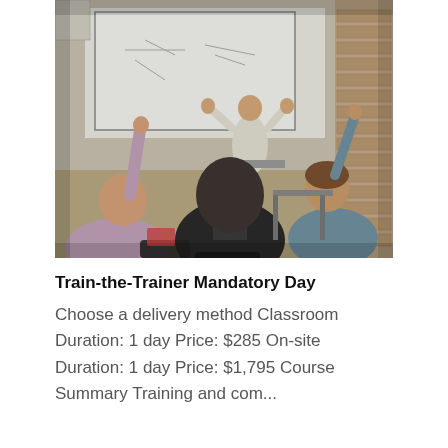[Figure (photo): A classroom scene showing students sitting at desks with their hands raised toward an instructor standing at a whiteboard at the front of the room. The instructor has arms raised. The classroom has a brick wall on the right side.]
Train-the-Trainer Mandatory Day
Choose a delivery method Classroom Duration: 1 day Price: $285 On-site Duration: 1 day Price: $1,795 Course Summary Training and com...